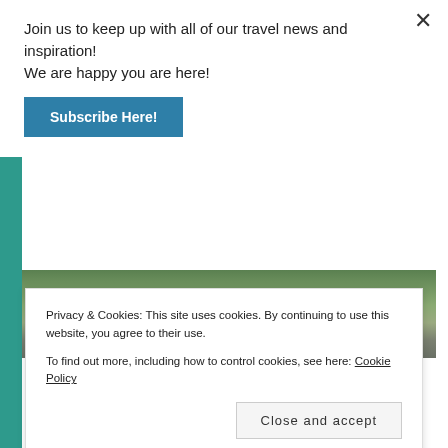Join us to keep up with all of our travel news and inspiration! We are happy you are here!
Subscribe Here!
[Figure (photo): Two people walking on a path through a green wooded area, viewed from behind]
BABCIA AND YIA YIA!, TRAVEL WITH TERRI: USA 101
North Carolina 101:
Privacy & Cookies: This site uses cookies. By continuing to use this website, you agree to their use.
To find out more, including how to control cookies, see here: Cookie Policy
Close and accept
our country's most unique small cities. Asheville,